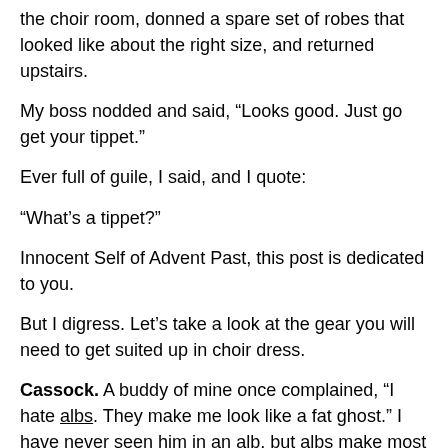the choir room, donned a spare set of robes that looked like about the right size, and returned upstairs.
My boss nodded and said, “Looks good. Just go get your tippet.”
Ever full of guile, I said, and I quote:
“What’s a tippet?”
Innocent Self of Advent Past, this post is dedicated to you.
But I digress. Let’s take a look at the gear you will need to get suited up in choir dress.
Cassock. A buddy of mine once complained, “I hate albs. They make me look like a fat ghost.” I have never seen him in an alb, but albs make most everyone look like a fat ghost, so he was probably not wrong.
Enter the cassock.
A cassock is a long button-down robe that is enormously flattering if it fits right. There are two basic types: single-breasted and double-breasted, otherwise known as Roman-style and Anglican-style. People who